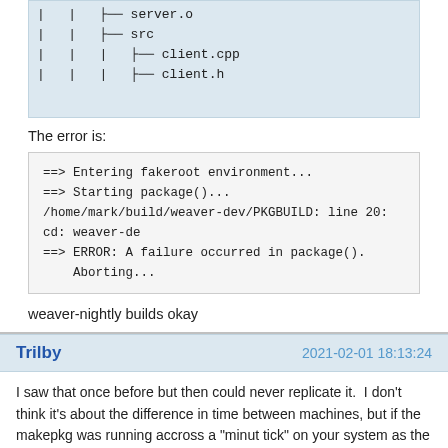[Figure (screenshot): File tree showing server.o, src, client.cpp, client.h entries]
The error is:
[Figure (screenshot): Terminal error output: ==> Entering fakeroot environment... ==> Starting package()... /home/mark/build/weaver-dev/PKGBUILD: line 20: cd: weaver-de ==> ERROR: A failure occurred in package(). Aborting...]
weaver-nightly builds okay
Trilby  2021-02-01 18:13:24
I saw that once before but then could never replicate it.  I don't think it's about the difference in time between machines, but if the makepkg was running accross a "minut tick" on your system as the _ver variable expands to different values in different places in the PKGBUILD.  This would be the case if _ver=$(date -u ....) was "lazy evaluated" and the date command was run more than once while processing the PKGBUILD.  But I don't think this could be the case.